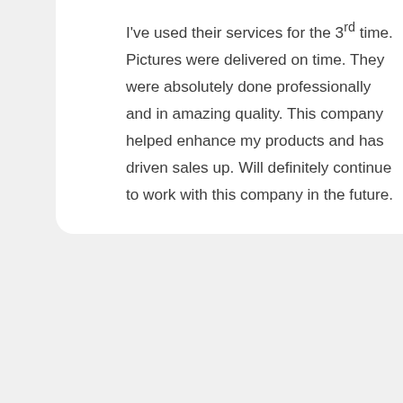I've used their services for the 3rd time. Pictures were delivered on time. They were absolutely done professionally and in amazing quality. This company helped enhance my products and has driven sales up. Will definitely continue to work with this company in the future.
[Figure (photo): Circular profile photo of Donna Smith with an orange star badge overlay]
Donna Smith
CEO
If you are looking for good quality product photography then this is the place you're